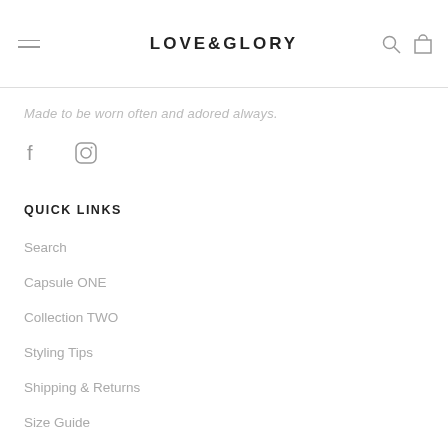LOVE&GLORY
Made to be worn often and adored always.
[Figure (logo): Facebook and Instagram social media icons]
QUICK LINKS
Search
Capsule ONE
Collection TWO
Styling Tips
Shipping & Returns
Size Guide
Terms of Service
Refund policy